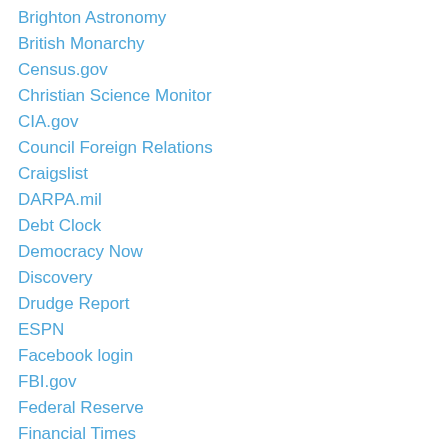Brighton Astronomy
British Monarchy
Census.gov
Christian Science Monitor
CIA.gov
Council Foreign Relations
Craigslist
DARPA.mil
Debt Clock
Democracy Now
Discovery
Drudge Report
ESPN
Facebook login
FBI.gov
Federal Reserve
Financial Times
Flickr
Forbes
Fortune